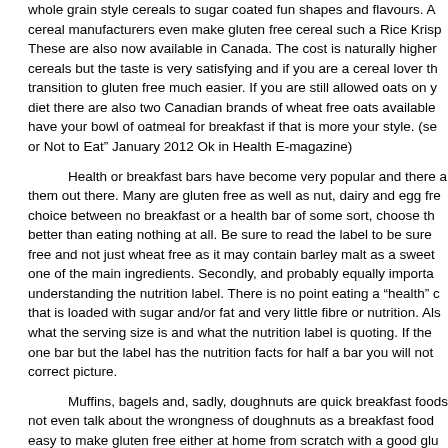whole grain style cereals to sugar coated fun shapes and flavours. A cereal manufacturers even make gluten free cereal such a Rice Krisp These are also now available in Canada. The cost is naturally higher cereals but the taste is very satisfying and if you are a cereal lover th transition to gluten free much easier. If you are still allowed oats on y diet there are also two Canadian brands of wheat free oats available have your bowl of oatmeal for breakfast if that is more your style. (se or Not to Eat” January 2012 Ok in Health E-magazine)
Health or breakfast bars have become very popular and there a them out there. Many are gluten free as well as nut, dairy and egg fre choice between no breakfast or a health bar of some sort, choose the better than eating nothing at all. Be sure to read the label to be sure free and not just wheat free as it may contain barley malt as a sweet one of the main ingredients. Secondly, and probably equally importa understanding the nutrition label. There is no point eating a “health” that is loaded with sugar and/or fat and very little fibre or nutrition. Als what the serving size is and what the nutrition label is quoting. If the one bar but the label has the nutrition facts for half a bar you will not correct picture.
Muffins, bagels and, sadly, doughnuts are quick breakfast foods not even talk about the wrongness of doughnuts as a breakfast food easy to make gluten free either at home from scratch with a good glu mix, by purchasing a packaged gluten free muffin mix or buying read from a store or gluten free bakery. Muffins are easy to make into a nu breakfast by filling them with fruit, nuts and fibre. A few seconds in th freshen and your grab and go breakfast is ready and gluten free. Ba